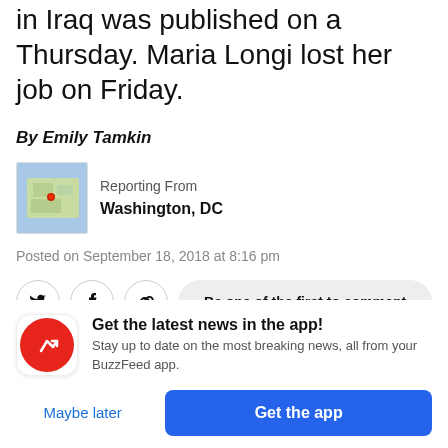in Iraq was published on a Thursday. Maria Longi lost her job on Friday.
By Emily Tamkin
[Figure (map): Small map thumbnail showing Washington DC location with a red dot]
Reporting From
Washington, DC
Posted on September 18, 2018 at 8:16 pm
[Figure (infographic): Social share buttons: Twitter bird icon, Facebook f icon, link/chain icon, and a 'Be one of the first to comment' pill button]
[Figure (photo): Close-up photo of a person's hand/fist, blurred background]
[Figure (infographic): BuzzFeed app promotional banner with red circular logo with white arrow, text 'Get the latest news in the app! Stay up to date on the most breaking news, all from your BuzzFeed app.' with 'Maybe later' link and 'Get the app' blue button]